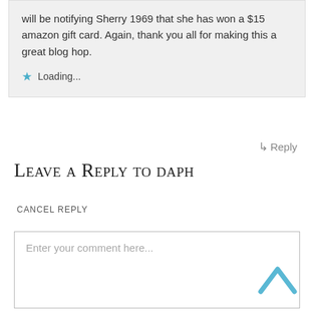will be notifying Sherry 1969 that she has won a $15 amazon gift card. Again, thank you all for making this a great blog hop.
Loading...
↳ Reply
Leave a Reply to daph
Cancel reply
Enter your comment here...